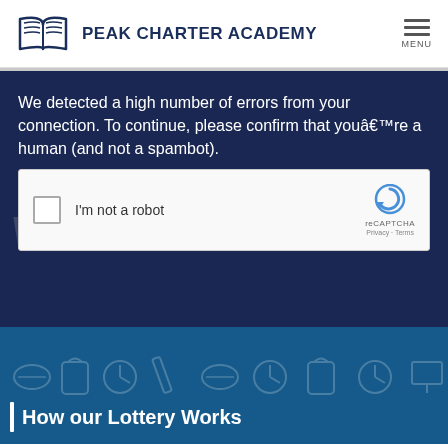PEAK CHARTER ACADEMY
We detected a high number of errors from your connection. To continue, please confirm that youâre a human (and not a spambot).
[Figure (screenshot): reCAPTCHA widget with checkbox labeled 'I'm not a robot' and reCAPTCHA logo with Privacy and Terms links]
How our Lottery Works